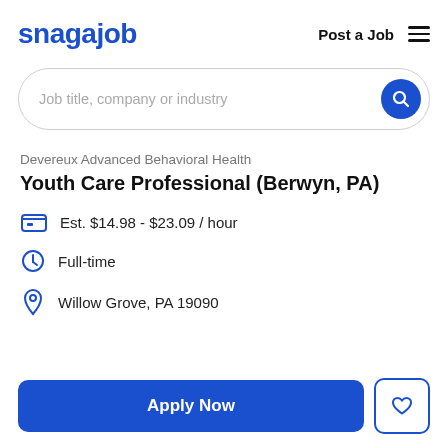snagajob | Post a Job
[Figure (screenshot): Search bar with placeholder text 'Job title, company or industry' and a blue circular search button]
Devereux Advanced Behavioral Health
Youth Care Professional (Berwyn, PA)
Est. $14.98 - $23.09 / hour
Full-time
Willow Grove, PA 19090
[Figure (other): Apply Now button (blue) and heart/save button (outlined)]